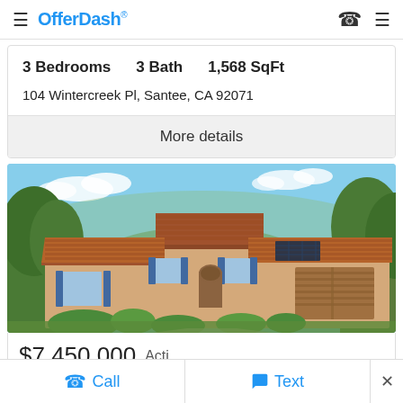OfferDash
3 Bedrooms   3 Bath   1,568 SqFt
104 Wintercreek Pl, Santee, CA 92071
More details
[Figure (photo): Exterior photo of a Spanish-style stucco home with tile roof, arched entryway, blue shutters, solar panels, attached garage, and landscaped front yard under a blue sky.]
$7,450,000  Acti...